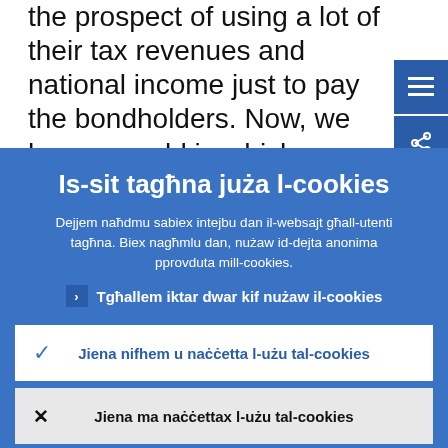the prospect of using a lot of their tax revenues and national income just to pay the bondholders. Now, we have a world in which many countries issue long-term debt at very low interest rates, so the financial
Is-sit tagħna juża l-cookies
Dejjem naħdmu sabiex intejbu dan il-websajt għall-utenti tagħna. Biex nagħmlu dan, nużaw id-dejta anonima pprovduta mill-cookies.
Tgħallem iktar dwar kif nużaw il-cookies
Jiena nifhem u naċċetta l-użu tal-cookies
Jiena ma naċċettax l-użu tal-cookies